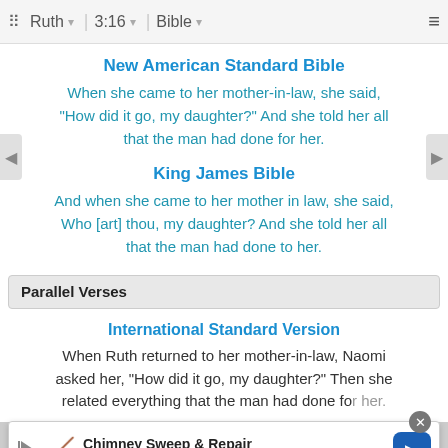Ruth | 3:16 | Bible
New American Standard Bible
When she came to her mother-in-law, she said, "How did it go, my daughter?" And she told her all that the man had done for her.
King James Bible
And when she came to her mother in law, she said, Who [art] thou, my daughter? And she told her all that the man had done to her.
Parallel Verses
International Standard Version
When Ruth returned to her mother-in-law, Naomi asked her, "How did it go, my daughter?" Then she related everything that the man had done for her.